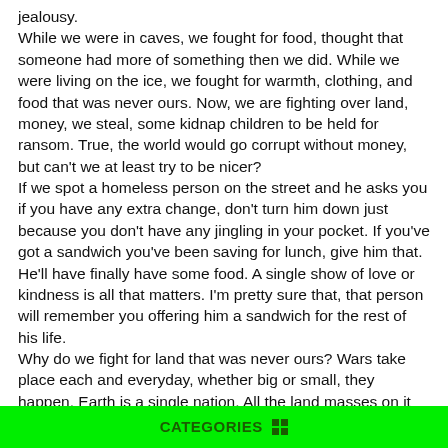jealousy.
While we were in caves, we fought for food, thought that someone had more of something then we did. While we were living on the ice, we fought for warmth, clothing, and food that was never ours. Now, we are fighting over land, money, we steal, some kidnap children to be held for ransom. True, the world would go corrupt without money, but can't we at least try to be nicer?
If we spot a homeless person on the street and he asks you if you have any extra change, don't turn him down just because you don't have any jingling in your pocket. If you've got a sandwich you've been saving for lunch, give him that. He'll have finally have some food. A single show of love or kindness is all that matters. I'm pretty sure that, that person will remember you offering him a sandwich for the rest of his life.
Why do we fight for land that was never ours? Wars take place each and everyday, whether big or small, they happen. Earth is a single nation. All the land masses on it belong to
CATEGORIES